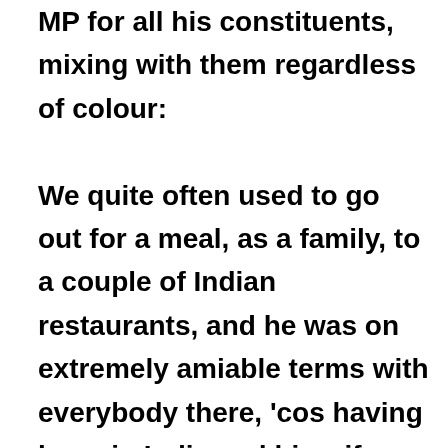MP for all his constituents, mixing with them regardless of colour: We quite often used to go out for a meal, as a family, to a couple of Indian restaurants, and he was on extremely amiable terms with everybody there, 'cos having been in India and his wife brought up in India, they liked that kind of food. On the numbers migrating to Britain,